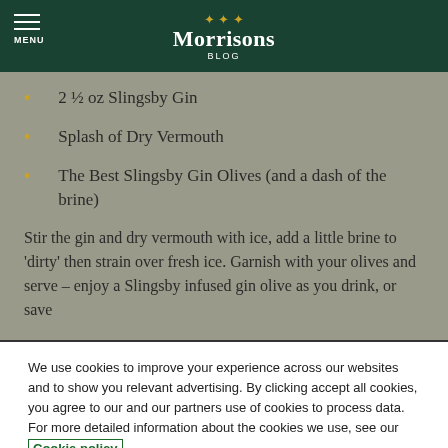MENU | Morrisons BLOG
2 ½ oz Slingsby Gin
Splash of Dry Vermouth
The Best Slingsby Gin Olives (and a dash of the brine)
Stir the gin and dry vermouth with ice, add a little brine to 'dirty' then strain over fresh ice. Garnish with your olives and serve – enjoy a Slingsby infused gin olive as you drink, or save
We use cookies to improve your experience across our websites and to show you relevant advertising. By clicking accept all cookies, you agree to our and our partners use of cookies to process data. For more detailed information about the cookies we use, see our Cookie policy
Cookies Settings | Accept All Cookies